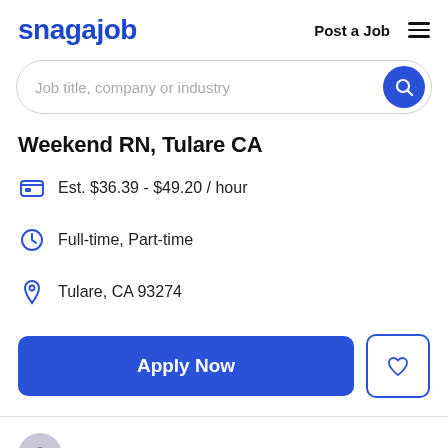snagajob | Post a Job ☰
Job title, company or industry
Weekend RN, Tulare CA
Est. $36.39 - $49.20 / hour
Full-time, Part-time
Tulare, CA 93274
Apply Now